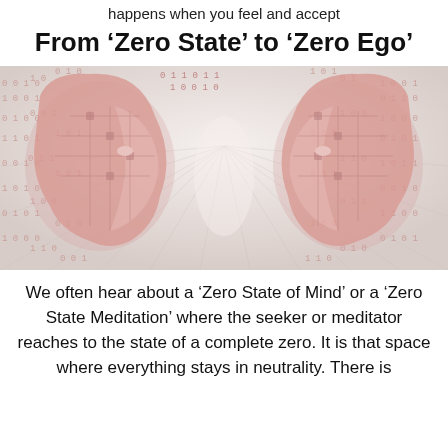happens when you feel and accept
From ‘Zero State’ to ‘Zero Ego’
[Figure (illustration): Two mirrored rose-gold metallic human head profiles facing each other, with circuit board patterns inside the heads and binary digits (0s and 1s) radiating outward in a perspective tunnel effect. The background is a light gradient with converging lines of binary data. The overall color palette is muted rose-pink and grey-white.]
We often hear about a ‘Zero State of Mind’ or a ‘Zero State Meditation’ where the seeker or meditator reaches to the state of a complete zero. It is that space where everything stays in neutrality. There is